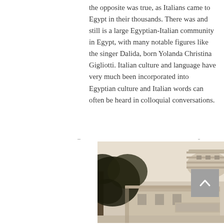the opposite was true, as Italians came to Egypt in their thousands. There was and still is a large Egyptian-Italian community in Egypt, with many notable figures like the singer Dalida, born Yolanda Christina Gigliotti. Italian culture and language have very much been incorporated into Egyptian culture and Italian words can often be heard in colloquial conversations.
[Figure (photo): Black and white historical photograph of a building with an Art Deco cylindrical tower. Tree branches with leaves visible in the foreground on the left. A sign is visible on the building facade.]